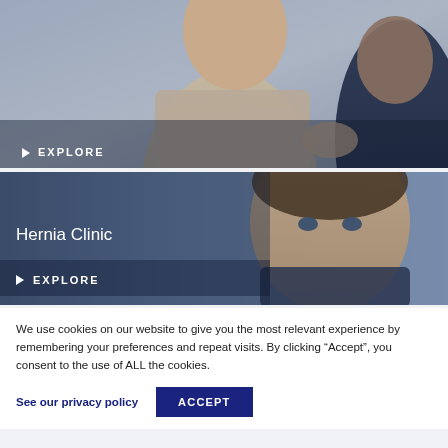[Figure (photo): Two men in an office or clinic setting, one smiling in a light shirt, the other in a dark suit jacket, appearing to shake hands or gesture. A white 'EXPLORE' button label overlays the bottom of the image.]
[Figure (photo): Close-up of a man's face in a clinical or office environment with a blurred background. Text 'Hernia Clinic' and 'EXPLORE' overlay the left side of the image.]
We use cookies on our website to give you the most relevant experience by remembering your preferences and repeat visits. By clicking “Accept”, you consent to the use of ALL the cookies.
See our privacy policy
ACCEPT